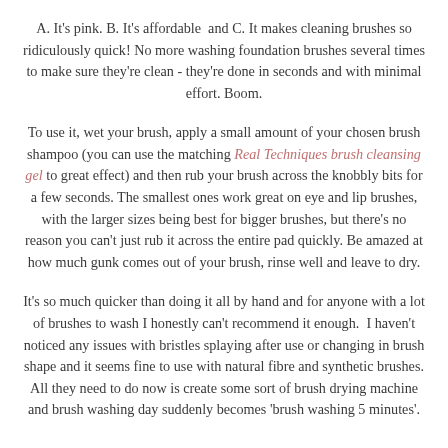A. It's pink. B. It's affordable and C. It makes cleaning brushes so ridiculously quick! No more washing foundation brushes several times to make sure they're clean - they're done in seconds and with minimal effort. Boom.
To use it, wet your brush, apply a small amount of your chosen brush shampoo (you can use the matching Real Techniques brush cleansing gel to great effect) and then rub your brush across the knobbly bits for a few seconds. The smallest ones work great on eye and lip brushes, with the larger sizes being best for bigger brushes, but there's no reason you can't just rub it across the entire pad quickly. Be amazed at how much gunk comes out of your brush, rinse well and leave to dry.
It's so much quicker than doing it all by hand and for anyone with a lot of brushes to wash I honestly can't recommend it enough. I haven't noticed any issues with bristles splaying after use or changing in brush shape and it seems fine to use with natural fibre and synthetic brushes. All they need to do now is create some sort of brush drying machine and brush washing day suddenly becomes 'brush washing 5 minutes'.